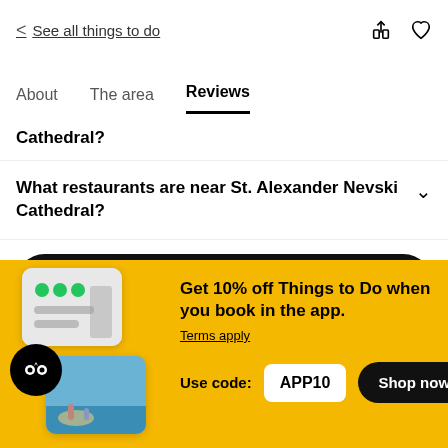< See all things to do
About   The area   Reviews
Cathedral?
What restaurants are near St. Alexander Nevski Cathedral?
See options
Get 10% off Things to Do when you book in the app. Terms apply Use code: APP10  Shop now